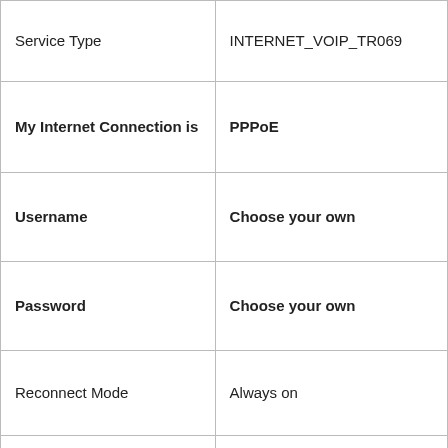| Service Type | INTERNET_VOIP_TR069 |
| My Internet Connection is | PPPoE |
| Username | Choose your own |
| Password | Choose your own |
| Reconnect Mode | Always on |
| Address Mode | Dynamic IP |
| MTU | Auto |
| Enable NAT | Enabled |